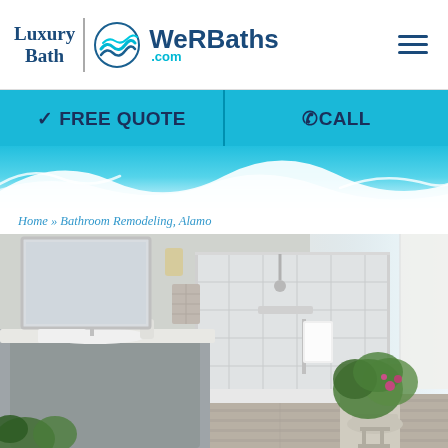[Figure (logo): Luxury Bath | WeRBaths.com logo with wave graphic and hamburger menu icon]
✓ FREE QUOTE
☎ CALL
[Figure (illustration): Blue wave graphic banner background]
Home » Bathroom Remodeling Alamo
[Figure (photo): Remodeled bathroom showing a gray vanity with white countertop, walk-in shower with marble-look tile surround, wood-look floor, white towels, and a potted plant on the right side]